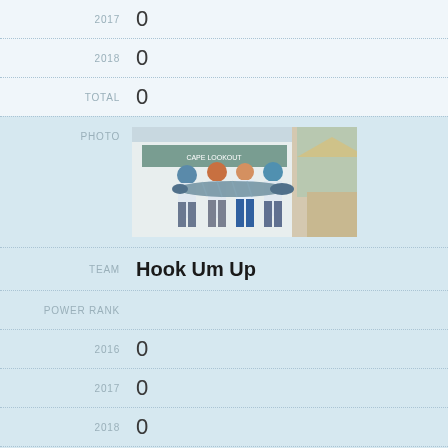| Label | Value |
| --- | --- |
| 2017 | 0 |
| 2018 | 0 |
| TOTAL | 0 |
[Figure (photo): Team photo showing four anglers holding a large fish (wahoo/tuna) at Cape Lookout fishing tournament.]
TEAM  Hook Um Up
| Label | Value |
| --- | --- |
| POWER RANK |  |
| 2016 | 0 |
| 2017 | 0 |
| 2018 | 0 |
| TOTAL | 0 |
[Figure (photo): Team photo at fishing tournament showing anglers with Bud Light signage.]